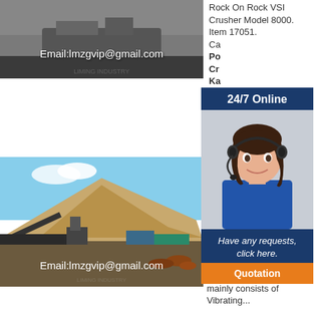[Figure (photo): Industrial machinery photo with email overlay: Email:lmzgvip@gmail.com]
[Figure (photo): Outdoor mining/crushing plant with large sand pile and conveyor equipment. Email overlay: Email:lmzgvip@gmail.com]
[Figure (photo): VSI crusher machines in an industrial facility. Email overlay: Email:lmzgvip@gmail.com]
Rock On Rock VSI Crusher Model 8000. Item 17051. Ca... Po... Cr... Ka... 20... Us... Ja... Im... in...
[Figure (infographic): 24/7 Online popup with customer service representative wearing headset, text 'Have any requests, click here.' and orange Quotation button]
Stone Crusher Plant Prices, Used
The Stone Crushing Plant mainly consists of Vibrating...